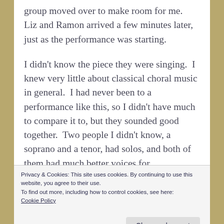group moved over to make room for me.  Liz and Ramon arrived a few minutes later, just as the performance was starting.
I didn't know the piece they were singing.  I knew very little about classical choral music in general.  I had never been to a performance like this, so I didn't have much to compare it to, but they sounded good together.  Two people I didn't know, a soprano and a tenor, had solos, and both of them had much better voices for
Privacy & Cookies: This site uses cookies. By continuing to use this website, you agree to their use.
To find out more, including how to control cookies, see here: Cookie Policy
Close and accept